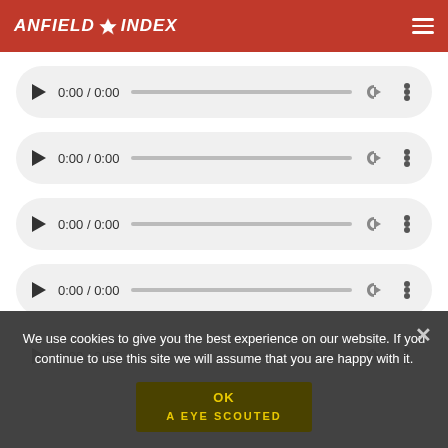ANFIELD INDEX
[Figure (screenshot): Four audio player controls showing 0:00 / 0:00 with play button, progress bar, volume icon, and options dots]
We use cookies to give you the best experience on our website. If you continue to use this site we will assume that you are happy with it.
OK
A EYE SCOUTED